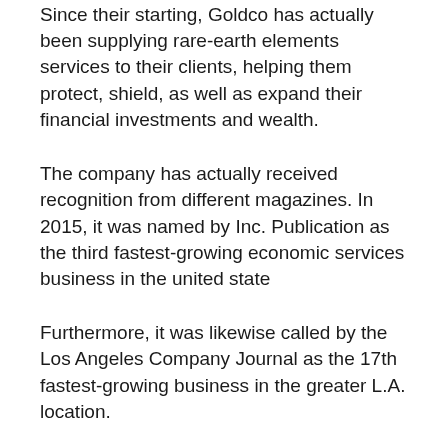Since their starting, Goldco has actually been supplying rare-earth elements services to their clients, helping them protect, shield, as well as expand their financial investments and wealth.
The company has actually received recognition from different magazines. In 2015, it was named by Inc. Publication as the third fastest-growing economic services business in the united state
Furthermore, it was likewise called by the Los Angeles Company Journal as the 17th fastest-growing business in the greater L.A. location.
Goldco Solutions